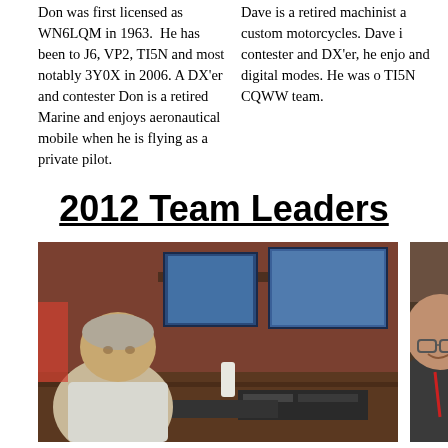Don was first licensed as WN6LQM in 1963. He has been to J6, VP2, TI5N and most notably 3Y0X in 2006. A DX'er and contester Don is a retired Marine and enjoys aeronautical mobile when he is flying as a private pilot.
Dave is a retired machinist and builds custom motorcycles. Dave is an avid contester and DX'er, he enjoys CW and digital modes. He was on the TI5N CQWW team.
2012 Team Leaders
[Figure (photo): Photo of Jim Storms seated at a ham radio station with multiple monitors and radio equipment.]
Jim Storms - AB8YK
[Figure (photo): Partial photo of another person (Ro...) at the right edge of the page.]
Ro